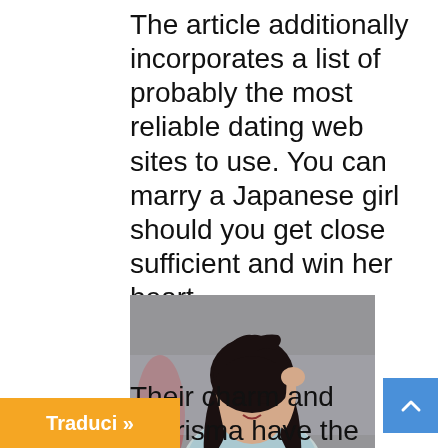The article additionally incorporates a list of probably the most reliable dating web sites to use. You can marry a Japanese girl should you get close sufficient and win her heart.
[Figure (photo): Portrait photo of a young Asian woman with long dark hair, hand raised to her head, wearing a light blue top, blurred background]
Their charm and charisma have the facility to offer the